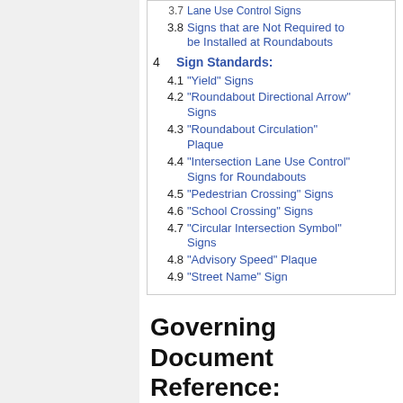3.7 Lane Use Control Signs
3.8 Signs that are Not Required to be Installed at Roundabouts
4  Sign Standards:
4.1 "Yield" Signs
4.2 "Roundabout Directional Arrow" Signs
4.3 "Roundabout Circulation" Plaque
4.4 "Intersection Lane Use Control" Signs for Roundabouts
4.5 "Pedestrian Crossing" Signs
4.6 "School Crossing" Signs
4.7 "Circular Intersection Symbol" Signs
4.8 "Advisory Speed" Plaque
4.9 "Street Name" Sign
Governing Document Reference: